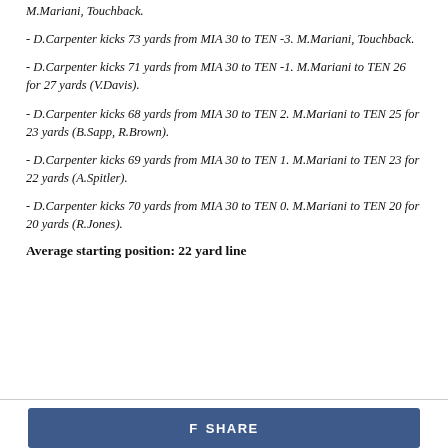M.Mariani, Touchback.
- D.Carpenter kicks 73 yards from MIA 30 to TEN -3. M.Mariani, Touchback.
- D.Carpenter kicks 71 yards from MIA 30 to TEN -1. M.Mariani to TEN 26 for 27 yards (V.Davis).
- D.Carpenter kicks 68 yards from MIA 30 to TEN 2. M.Mariani to TEN 25 for 23 yards (B.Sapp, R.Brown).
- D.Carpenter kicks 69 yards from MIA 30 to TEN 1. M.Mariani to TEN 23 for 22 yards (A.Spitler).
- D.Carpenter kicks 70 yards from MIA 30 to TEN 0. M.Mariani to TEN 20 for 20 yards (R.Jones).
Average starting position: 22 yard line